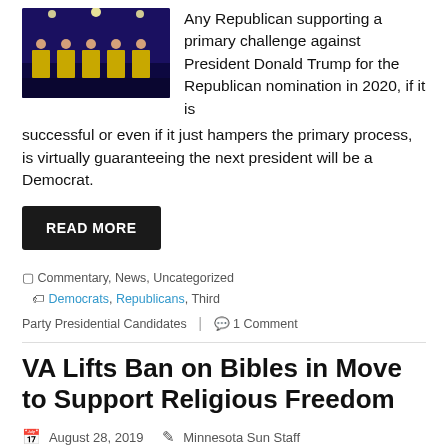[Figure (photo): Debate stage with participants under bright lights on a dark background]
Any Republican supporting a primary challenge against President Donald Trump for the Republican nomination in 2020, if it is successful or even if it just hampers the primary process, is virtually guaranteeing the next president will be a Democrat.
READ MORE
Commentary, News, Uncategorized  Democrats, Republicans, Third Party Presidential Candidates  1 Comment
VA Lifts Ban on Bibles in Move to Support Religious Freedom
August 28, 2019  Minnesota Sun Staff
[Figure (photo): Portrait of Veterans Affairs Secretary Robert Wilkie in front of a VA hospital building]
As a kid, Veterans Affairs Secretary Robert Wilkie recalls, he visited a VA hospital at Christmastime.
READ MORE